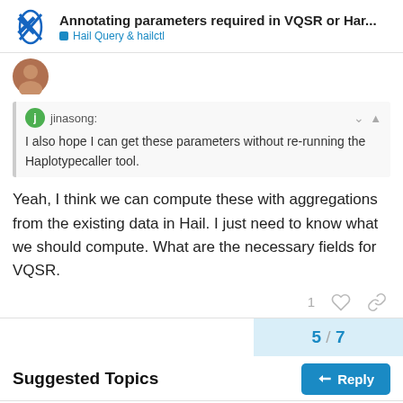Annotating parameters required in VQSR or Har... | Hail Query & hailctl
I also hope I can get these parameters without re-running the Haplotypecaller tool.
Yeah, I think we can compute these with aggregations from the existing data in Hail. I just need to know what we should compute. What are the necessary fields for VQSR.
5 / 7
Suggested Topics
Filtering table rows using two